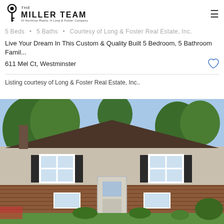The Miller Team of Northrop Realty, A Long & Foster Company
$675,000
5 Beds • 5 Baths • Courtesy of Long & Foster Real Estate, Inc.
Live Your Dream In This Custom & Quality Built 5 Bedroom, 5 Bathroom Famil...
611 Mel Ct, Westminster
Listing courtesy of Long & Foster Real Estate, Inc..
[Figure (photo): Exterior photo of a split-level residential home with beige siding and brick facade, dark roof, multiple windows with black shutters, front door, and green lawn]